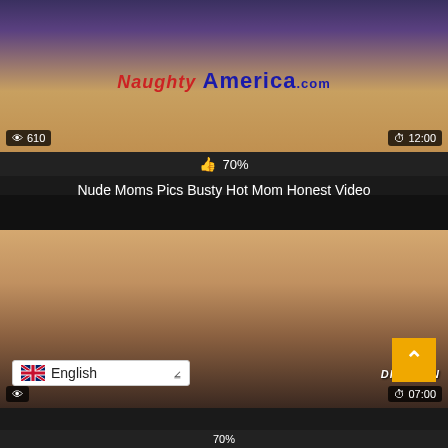[Figure (screenshot): Video thumbnail showing kitchen scene with NaughtyAmerica.com watermark, 610 views, 12:00 duration]
70%
Nude Moms Pics Busty Hot Mom Honest Video
[Figure (screenshot): Video thumbnail showing couple scene with DirtySin watermark, 07:00 duration]
English